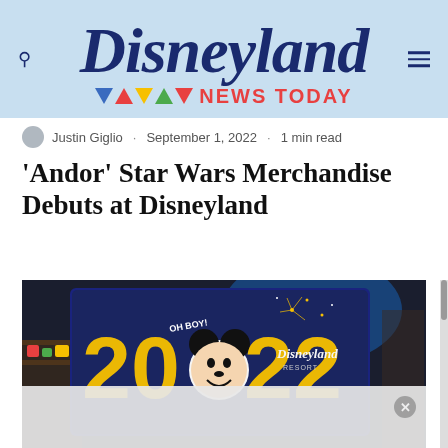Disneyland News Today
Justin Giglio · September 1, 2022 · 1 min read
'Andor' Star Wars Merchandise Debuts at Disneyland
[Figure (photo): Photo of a Disneyland 2022 merchandise item showing Mickey Mouse with '2022' text and Disneyland Resort branding, displayed in a store setting.]